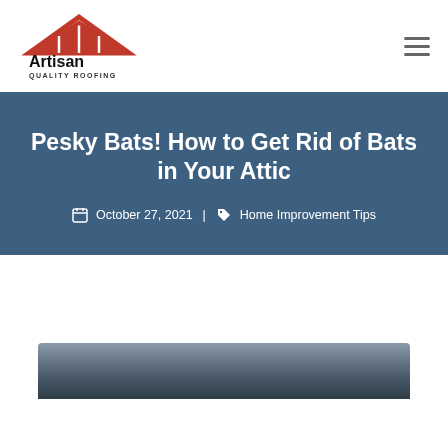[Figure (logo): Artisan Quality Roofing logo with red roof icon and black text]
Pesky Bats! How to Get Rid of Bats in Your Attic
October 27, 2021 | Home Improvement Tips
[Figure (photo): Photo of bats, partially visible at bottom of page]